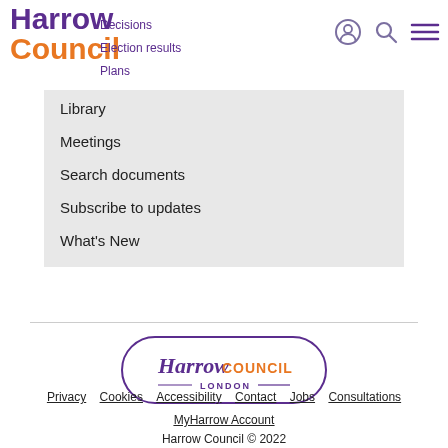[Figure (logo): Harrow Council logo with purple Harrow text and orange Council text]
Decisions
Election results
Plans
Library
Meetings
Search documents
Subscribe to updates
What's New
[Figure (logo): Harrow Council London logo in oval border, purple and orange]
Privacy  Cookies  Accessibility  Contact  Jobs  Consultations  MyHarrow Account  Harrow Council © 2022